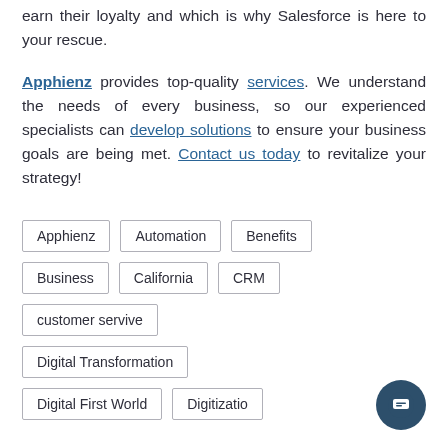earn their loyalty and which is why Salesforce is here to your rescue.
Apphienz provides top-quality services. We understand the needs of every business, so our experienced specialists can develop solutions to ensure your business goals are being met. Contact us today to revitalize your strategy!
Apphienz
Automation
Benefits
Business
California
CRM
customer servive
Digital Transformation
Digital First World
Digitization